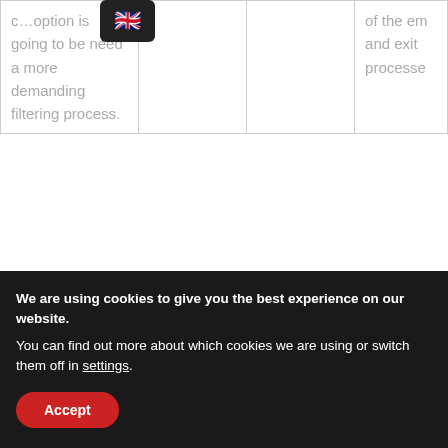| c…option is going to be need a more demanding filtering process. |  |  | of the em and exit processe |
Describe a day on the Moon for one of your Moo…
In the morning, astronauts wake up at the same time and ge… compartments. They take a shower and put on their thermo…
We are using cookies to give you the best experience on our website.
You can find out more about which cookies we are using or switch them off in settings.